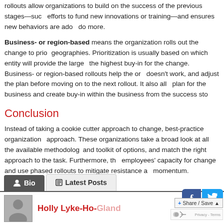rollouts allow organizations to build on the success of the previous stages—such as using the savings from efficiency efforts to fund new innovations or training—and ensures new behaviors are adopted before asking employees to do more.
Business- or region-based means the organization rolls out the change to priority business units or geographies. Prioritization is usually based on which entity will provide the largest return or has the highest buy-in for the change. Business- or region-based rollouts help the organization see what doesn't work, and adjust the plan before moving on to the next rollout. It also allows the organization to plan for the business and create buy-in within the business from the success stories.
Conclusion
Instead of taking a cookie cutter approach to change, best-practice organizations take a tailored approach. These organizations take a broad look at all the available methodologies and toolkit of options, and match the right approach to the task. Furthermore, they also consider employees' capacity for change and use phased rollouts to mitigate resistance and build momentum.
[Figure (other): Author bio section with Bio and Latest Posts tabs, author photo placeholder, author name Holly Lyke-Ho-Gland in red, Facebook and Twitter social buttons, Share/Save button, and reCAPTCHA widget.]